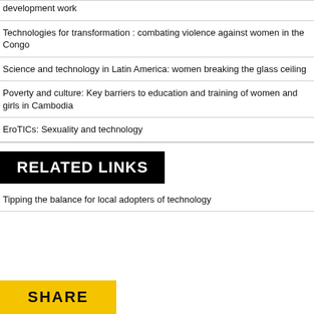development work
Technologies for transformation : combating violence against women in the Congo
Science and technology in Latin America: women breaking the glass ceiling
Poverty and culture: Key barriers to education and training of women and girls in Cambodia
EroTICs: Sexuality and technology
RELATED LINKS
Tipping the balance for local adopters of technology
SHARE